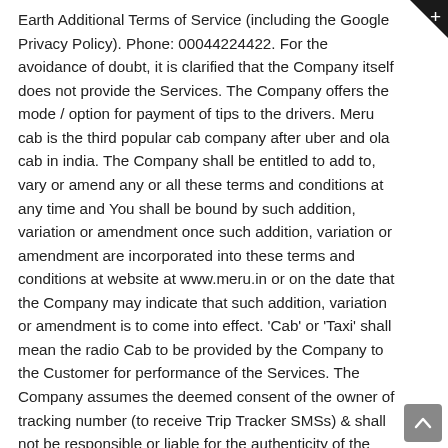Earth Additional Terms of Service (including the Google Privacy Policy). Phone: 00044224422. For the avoidance of doubt, it is clarified that the Company itself does not provide the Services. The Company offers the mode / option for payment of tips to the drivers. Meru cab is the third popular cab company after uber and ola cab in india. The Company shall be entitled to add to, vary or amend any or all these terms and conditions at any time and You shall be bound by such addition, variation or amendment once such addition, variation or amendment are incorporated into these terms and conditions at website at www.meru.in or on the date that the Company may indicate that such addition, variation or amendment is to come into effect. 'Cab' or 'Taxi' shall mean the radio Cab to be provided by the Company to the Customer for performance of the Services. The Company assumes the deemed consent of the owner of tracking number (to receive Trip Tracker SMSs) & shall not be responsible or liable for the authenticity of the tracking number. Attach your car with Meru and become an entrepreneur. Meru Cabs reviews and complaints. In connection with your use of the Service, the Company will obtain certain transaction details, which Company will use solely in accordance with its Privacy and Cookie Notice. The Company is entitled to at all